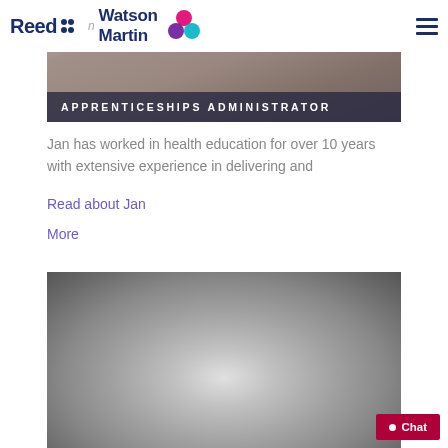Reed Watson Martin
[Figure (photo): Blurred black and white portrait photo of a person, partially visible behind header. Dark banner with text 'APPRENTICESHIPS ADMINISTRATOR']
APPRENTICESHIPS ADMINISTRATOR
Jan has worked in health education for over 10 years with extensive experience in delivering and
Read about Jan
More
[Figure (photo): Black and white close-up portrait photo of a person with hair visible, face partially cropped]